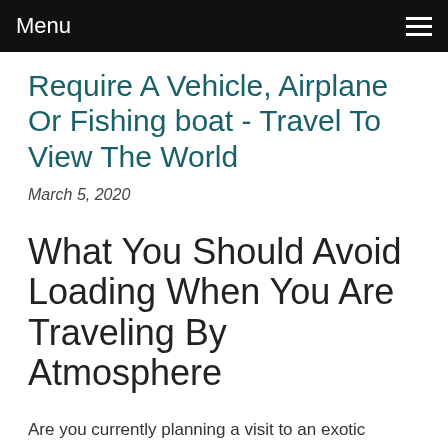Menu
Require A Vehicle, Airplane Or Fishing boat - Travel To View The World
March 5, 2020
What You Should Avoid Loading When You Are Traveling By Atmosphere
Are you currently planning a visit to an exotic destination? Having a business trip? Visiting friends?